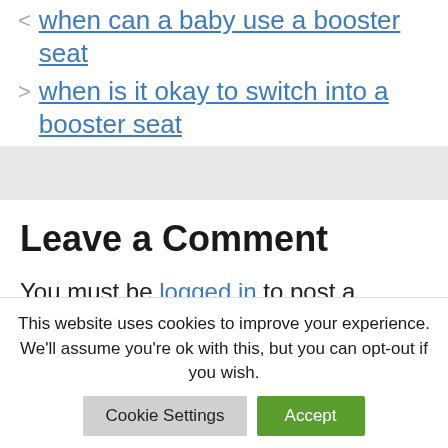< when can a baby use a booster seat
> when is it okay to switch into a booster seat
Leave a Comment
You must be logged in to post a comment.
This website uses cookies to improve your experience. We'll assume you're ok with this, but you can opt-out if you wish.